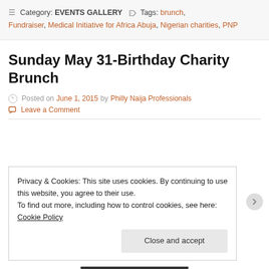Category: EVENTS GALLERY  Tags: brunch, Fundraiser, Medical Initiative for Africa Abuja, Nigerian charities, PNP
Sunday May 31-Birthday Charity Brunch
Posted on June 1, 2015 by Philly Naija Professionals
Leave a Comment
Privacy & Cookies: This site uses cookies. By continuing to use this website, you agree to their use.
To find out more, including how to control cookies, see here: Cookie Policy